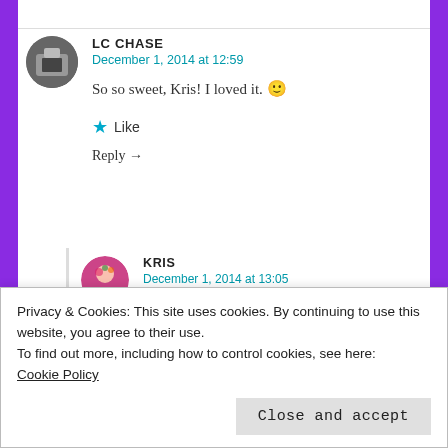LC CHASE
December 1, 2014 at 12:59
So so sweet, Kris! I loved it. 🙂
★ Like
Reply →
KRIS
December 1, 2014 at 13:05
🙂 Thank you LC
Privacy & Cookies: This site uses cookies. By continuing to use this website, you agree to their use.
To find out more, including how to control cookies, see here:
Cookie Policy
Close and accept